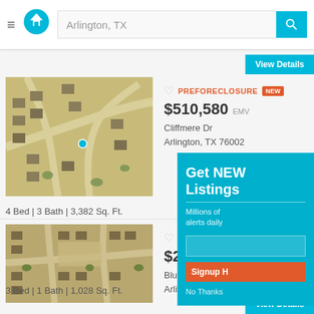[Figure (screenshot): App header with hamburger menu, home logo icon, search bar showing 'Arlington, TX', and teal search button]
View Details
[Figure (photo): Aerial satellite view of Cliffmere Dr neighborhood, Arlington TX]
PREFORECLOSURE NEW
$510,580 EMV
Cliffmere Dr
Arlington, TX 76002
4 Bed | 3 Bath | 3,382 Sq. Ft.
[Figure (photo): Aerial satellite view of Blue Spruce Dr neighborhood, Arlington TX]
PREFORECLOSURE
$251,957 EMV
Blue Spruce Dr
Arlington, TX 76018
3 Bed | 1 Bath | 1,028 Sq. Ft.
Get NEW Listings
Millions of alerts daily
Signup H
No Thanks
View Details